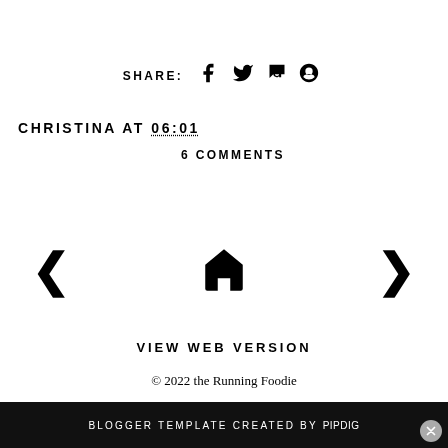SHARE: f t p (social icons)
CHRISTINA AT 06:01
6 COMMENTS
[Figure (other): Navigation row with left arrow, home icon, and right arrow]
VIEW WEB VERSION
© 2022 the Running Foodie
BLOGGER TEMPLATE CREATED BY pipdig